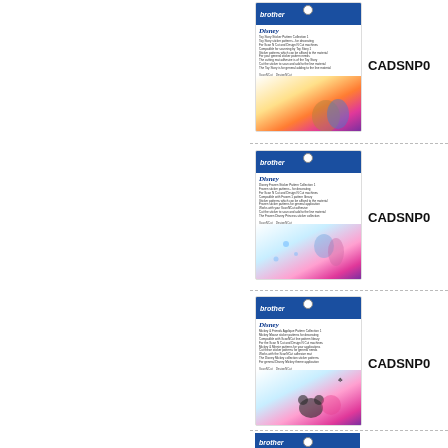[Figure (photo): Product packaging for Disney Brother ScanNCut/DesignNCut card - Toy Story edition (Woody and Buzz), front and back view]
CADSNP0
[Figure (photo): Product packaging for Disney Brother ScanNCut/DesignNCut card - Frozen edition (Elsa/Anna), front and back view]
CADSNP0
[Figure (photo): Product packaging for Disney Brother ScanNCut/DesignNCut card - Mickey & Minnie edition, front and back view]
CADSNP0
[Figure (photo): Product packaging for Disney Brother ScanNCut/DesignNCut card - fourth edition, partially visible]